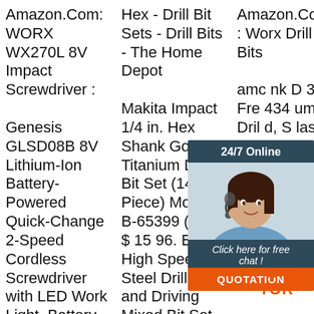Amazon.Com: WORX WX270L 8V Impact Screwdriver :
Hex - Drill Bit Sets - Drill Bits - The Home Depot
Amazon.Com: Worx Drill Bits
Genesis GLSD08B 8V Lithium-Ion Battery-Powered Quick-Change 2-Speed Cordless Screwdriver with LED Work Light, Battery Pack, Charging Stand, 4 Hex-Shank Drill Bits, and 4 Screwdriver Bits:
Makita Impact 1/4 in. Hex Shank Gold Titanium Drill Bit Set (14-Piece) Model# B-65399 (213) $ 15 96. Bosch High Speed Steel Drilling and Driving Mixed Bit Set (91-Piece) Model# MS4091 (51) $ 39 9. Limit 2 per ord
amc nk D 3Pc Fre 434 um Dril d, S last nge Design (1/16'-1/4') 4.4 out of 5 stars 2,558 $11.99 $ 11 . ...
[Figure (infographic): Chat widget overlay with dark blue header '24/7 Online', photo of woman with headset, dark blue 'Click here for free chat!' text, orange 'QUOTATION' button. TOR logo watermark at bottom right.]